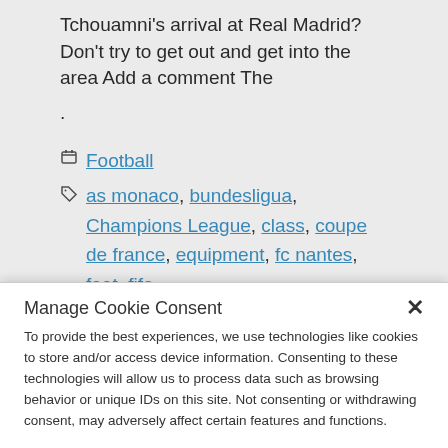Tchouamni's arrival at Real Madrid? Don't try to get out and get into the area Add a comment The
.
Football
as monaco, bundesligua, Champions League, class, coupe de france, equipment, fc nantes, feet, fifa,
Manage Cookie Consent
To provide the best experiences, we use technologies like cookies to store and/or access device information. Consenting to these technologies will allow us to process data such as browsing behavior or unique IDs on this site. Not consenting or withdrawing consent, may adversely affect certain features and functions.